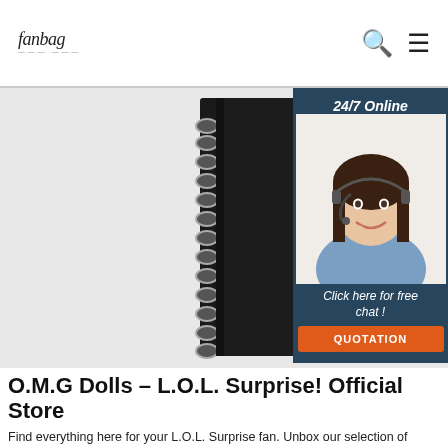fanbag | Search | Menu
[Figure (photo): A black spiral-bound notebook with elastic band closure on white/light grey background, with a 24/7 Online customer service chat widget overlay in the top right showing a smiling female agent with headset, text 'Click here for free chat!' and an orange QUOTATION button]
O.M.G Dolls – L.O.L. Surprise! Official Store
Find everything here for your L.O.L. Surprise fan. Unbox our selection of accessories, fashion dolls, collectible dolls, playsets, & more, on the Official Store.